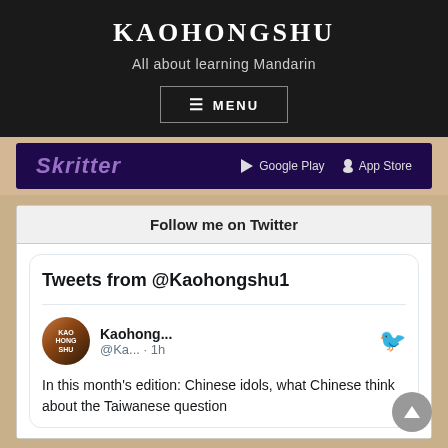KAOHONGSHU
All about learning Mandarin
≡ MENU
[Figure (screenshot): Skritter app advertisement banner with Google Play and App Store links on dark purple background]
Follow me on Twitter
Tweets from @Kaohongshu1
Kaohong... @Ka... · 1h
In this month's edition: Chinese idols, what Chinese think about the Taiwanese question